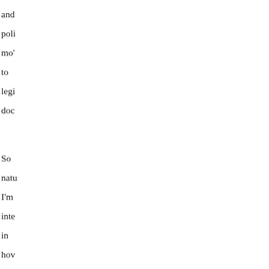and poli mo' to legi doc So natu I'm inte in hov #bl is goin to tran its mo in the legi
So natu I'm inte in hov #bl is goin to tran its mo in the legi